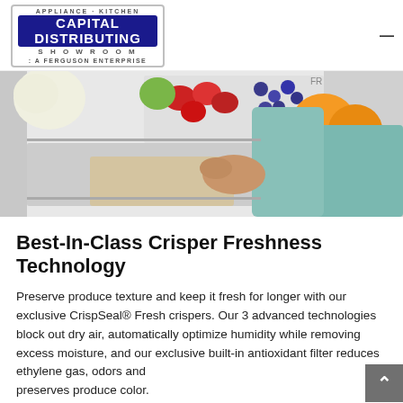APPLIANCE · KITCHEN CAPITAL DISTRIBUTING SHOWROOM A FERGUSON ENTERPRISE
[Figure (photo): Person reaching into an open refrigerator drawer containing fresh fruits including strawberries, blueberries, oranges, and an apple. The refrigerator has multiple crisper drawers visible.]
Best-In-Class Crisper Freshness Technology
Preserve produce texture and keep it fresh for longer with our exclusive CrispSeal® Fresh crispers. Our 3 advanced technologies block out dry air, automatically optimize humidity while removing excess moisture, and our exclusive built-in antioxidant filter reduces ethylene gas, odors and preserves produce color.